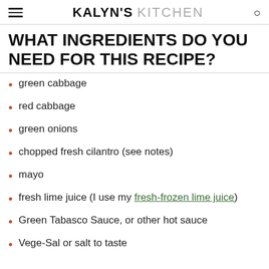KALYN'S KITCHEN
WHAT INGREDIENTS DO YOU NEED FOR THIS RECIPE?
green cabbage
red cabbage
green onions
chopped fresh cilantro (see notes)
mayo
fresh lime juice (I use my fresh-frozen lime juice)
Green Tabasco Sauce, or other hot sauce
Vege-Sal or salt to taste